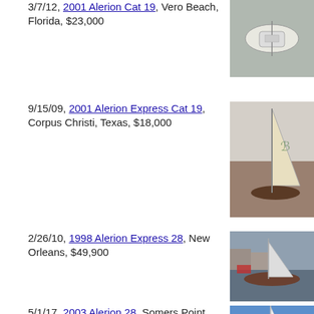3/7/12, 2001 Alerion Cat 19, Vero Beach, Florida, $23,000
[Figure (photo): Aerial or overhead view of a small white sailboat on water]
9/15/09, 2001 Alerion Express Cat 19, Corpus Christi, Texas, $18,000
[Figure (photo): Sailboat with large sail on water near a dock]
2/26/10, 1998 Alerion Express 28, New Orleans, $49,900
[Figure (photo): Sailboat moored at a marina]
5/1/17, 2003 Alerion 28, Somers Point, New Jersey, $14,500
[Figure (photo): Sailboat sail against blue sky]